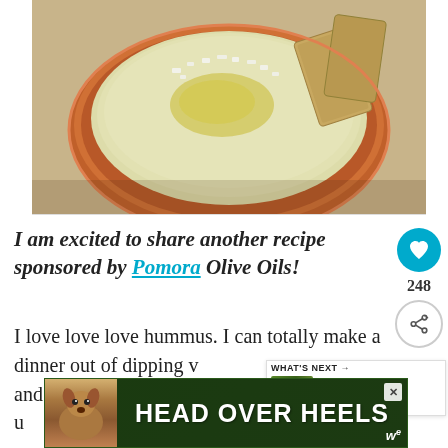[Figure (photo): A bowl of hummus topped with olive oil and feta cheese crumbles, with crackers/pita chips on the side, in an orange/terracotta bowl on a burlap surface]
I am excited to share another recipe sponsored by Pomora Olive Oils!
I love love love hummus. I can totally make a dinner out of dipping v[egetables] and pita chips into hummus. In fact, I u[sually] [...]nd m[...]
[Figure (infographic): WHAT'S NEXT → Beet and Blue Cheese Sala... (thumbnail of salad)]
[Figure (infographic): Advertisement banner: HEAD OVER HEELS with dog image]